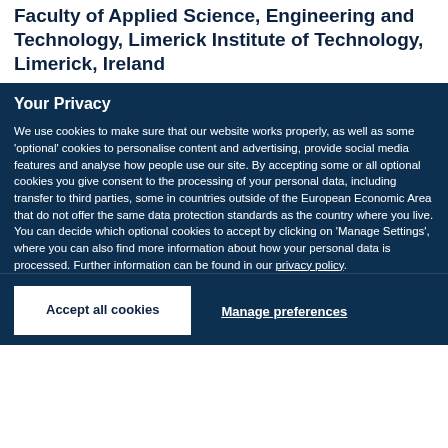Faculty of Applied Science, Engineering and Technology, Limerick Institute of Technology, Limerick, Ireland
Your Privacy
We use cookies to make sure that our website works properly, as well as some 'optional' cookies to personalise content and advertising, provide social media features and analyse how people use our site. By accepting some or all optional cookies you give consent to the processing of your personal data, including transfer to third parties, some in countries outside of the European Economic Area that do not offer the same data protection standards as the country where you live. You can decide which optional cookies to accept by clicking on 'Manage Settings', where you can also find more information about how your personal data is processed. Further information can be found in our privacy policy.
Accept all cookies
Manage preferences